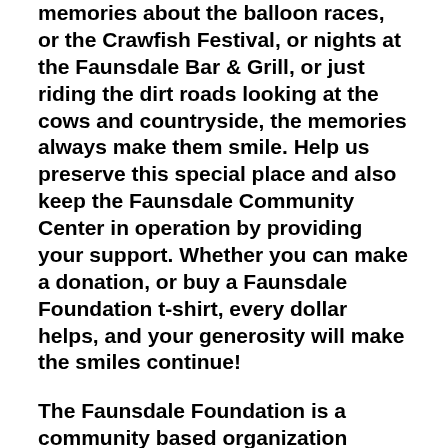memories about the balloon races, or the Crawfish Festival, or nights at the Faunsdale Bar & Grill, or just riding the dirt roads looking at the cows and countryside, the memories always make them smile. Help us preserve this special place and also keep the Faunsdale Community Center in operation by providing your support. Whether you can make a donation, or buy a Faunsdale Foundation t-shirt, every dollar helps, and your generosity will make the smiles continue!
The Faunsdale Foundation is a community based organization dedicated to safeguarding and promoting the historic and cultural heritage of the Town of Faunsdale, Alabama. Its goal is to foster pride in Faunsdale's historic landmarks